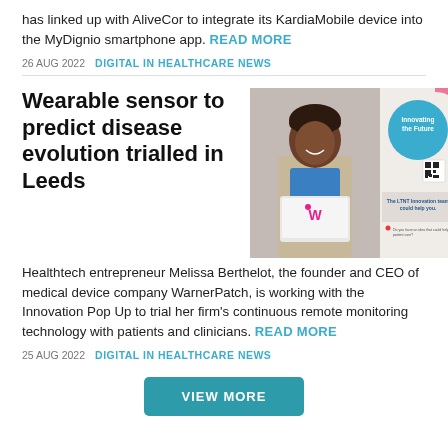has linked up with AliveCor to integrate its KardiaMobile device into the MyDignio smartphone app. READ MORE
26 AUG 2022   DIGITAL IN HEALTHCARE NEWS
Wearable sensor to predict disease evolution trialled in Leeds
[Figure (photo): Photo of Melissa Berthelot holding a WarnerPatch laptop, standing in front of an LTNT innovation team banner with 'Innovating the Future' circle graphic]
Healthtech entrepreneur Melissa Berthelot, the founder and CEO of medical device company WarnerPatch, is working with the Innovation Pop Up to trial her firm's continuous remote monitoring technology with patients and clinicians. READ MORE
25 AUG 2022   DIGITAL IN HEALTHCARE NEWS
VIEW MORE